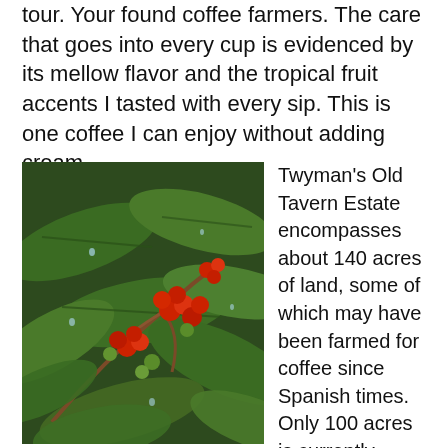tour. Your found coffee farmers. The care that goes into every cup is evidenced by its mellow flavor and the tropical fruit accents I tasted with every sip. This is one coffee I can enjoy without adding cream.
[Figure (photo): Close-up photograph of a coffee plant branch with clusters of red and green coffee cherries (berries) among large dark green leaves, with water droplets visible on the leaves.]
Twyman's Old Tavern Estate encompasses about 140 acres of land, some of which may have been farmed for coffee since Spanish times. Only 100 acres is currently farmed because consecutive